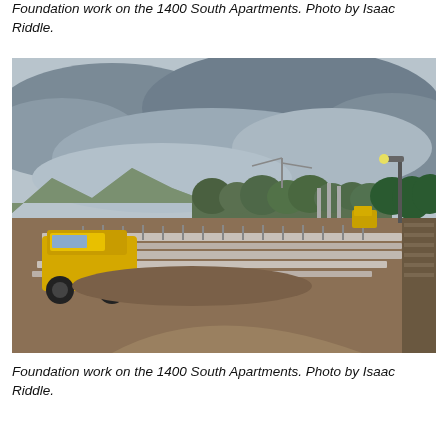Foundation work on the 1400 South Apartments. Photo by Isaac Riddle.
[Figure (photo): Construction site showing foundation work for the 1400 South Apartments. A yellow construction vehicle is visible on the left. Concrete foundation forms with rebar are laid out across a wide dirt area. Trees and mountains are visible in the background under a cloudy sky.]
Foundation work on the 1400 South Apartments. Photo by Isaac Riddle.